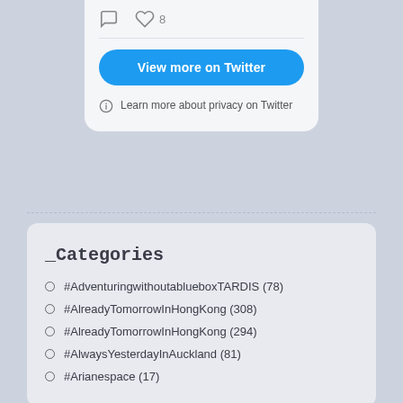[Figure (screenshot): Twitter embed widget top section showing comment and like icons (8 likes), a 'View more on Twitter' blue button, and a privacy notice with info icon]
View more on Twitter
Learn more about privacy on Twitter
_Categories
#AdventuringwithoutablueboxTARDIS (78)
#AlreadyTomorrowInHongKong (308)
#AlreadyTomorrowInHongKong (294)
#AlwaysYesterdayInAuckland (81)
#Arianespace (17)